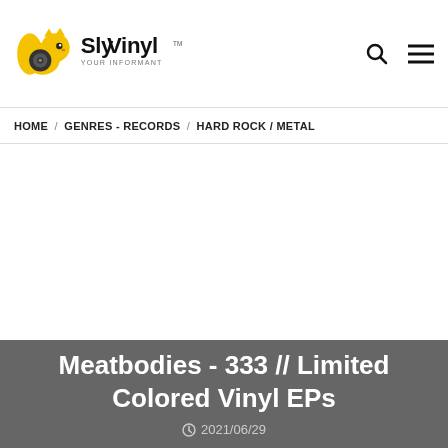SlyVinyl - Your Informant
HOME / GENRES - RECORDS / HARD ROCK / METAL
Meatbodies - 333 // Limited Colored Vinyl EPs
2021/06/29